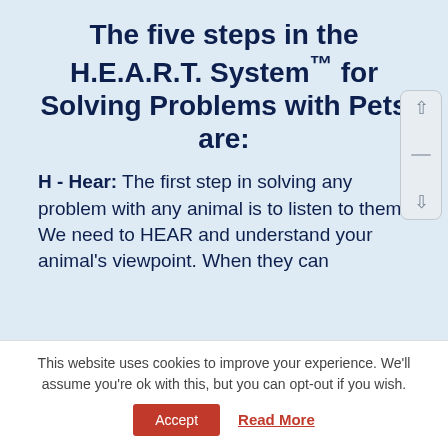The five steps in the H.E.A.R.T. System™ for Solving Problems with Pets are:
H - Hear: The first step in solving any problem with any animal is to listen to them. We need to HEAR and understand your animal's viewpoint. When they can
This website uses cookies to improve your experience. We'll assume you're ok with this, but you can opt-out if you wish.